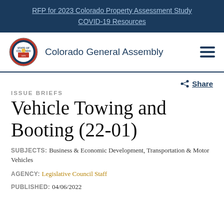RFP for 2023 Colorado Property Assessment Study
COVID-19 Resources
[Figure (logo): Colorado General Assembly header with Colorado state seal and organization name]
Vehicle Towing and Booting (22-01)
ISSUE BRIEFS
SUBJECTS: Business & Economic Development, Transportation & Motor Vehicles
AGENCY: Legislative Council Staff
PUBLISHED: 04/06/2022